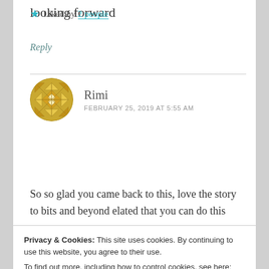looking forward
★ Liked by 2 people
Reply
[Figure (illustration): Round avatar with golden geometric quilt pattern design for commenter Rimi]
Rimi
FEBRUARY 25, 2019 AT 5:55 AM
So so glad you came back to this, love the story to bits and beyond elated that you can do this once
Privacy & Cookies: This site uses cookies. By continuing to use this website, you agree to their use.
To find out more, including how to control cookies, see here: Cookie Policy
Close and accept
Reply